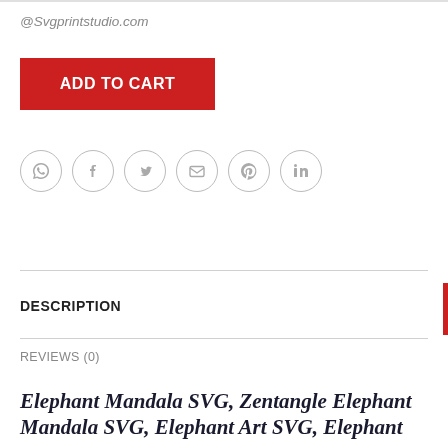@Svgprintstudio.com
ADD TO CART
[Figure (other): Row of six social share icons in gray circles: WhatsApp, Facebook, Twitter, Email, Pinterest, LinkedIn]
DESCRIPTION
REVIEWS (0)
Elephant Mandala SVG, Zentangle Elephant Mandala SVG, Elephant Art SVG, Elephant